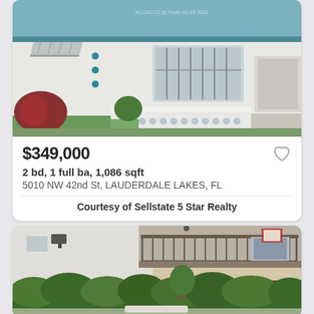[Figure (photo): Exterior photo of a single-story white house with teal trim, awning, and white decorative fence/porch railing, green lawn, red-leafed shrub on left]
$349,000
2 bd, 1 full ba, 1,086 sqft
5010 NW 42nd St, LAUDERDALE LAKES, FL
Courtesy of Sellstate 5 Star Realty
[Figure (photo): Exterior photo of a two-story apartment building with balcony, iron railings, beige stucco, dense green hedges in front]